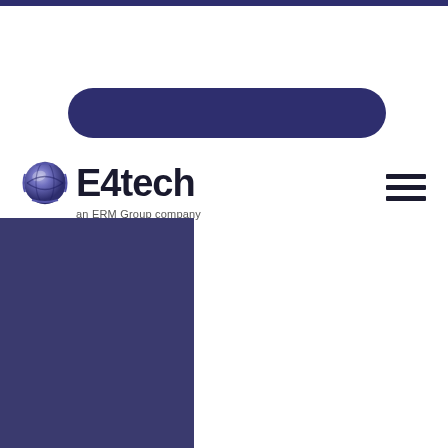[Figure (logo): E4tech logo with globe icon and tagline 'an ERM Group company']
[Figure (other): Dark navy pill-shaped bar/banner element]